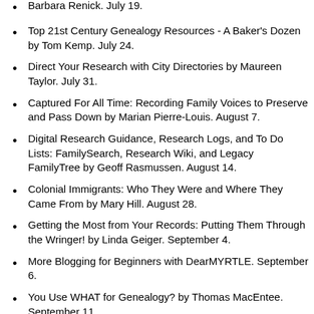Barbara Renick. July 19.
Top 21st Century Genealogy Resources - A Baker's Dozen by Tom Kemp. July 24.
Direct Your Research with City Directories by Maureen Taylor. July 31.
Captured For All Time: Recording Family Voices to Preserve and Pass Down by Marian Pierre-Louis. August 7.
Digital Research Guidance, Research Logs, and To Do Lists: FamilySearch, Research Wiki, and Legacy FamilyTree by Geoff Rasmussen. August 14.
Colonial Immigrants: Who They Were and Where They Came From by Mary Hill. August 28.
Getting the Most from Your Records: Putting Them Through the Wringer! by Linda Geiger. September 4.
More Blogging for Beginners with DearMYRTLE. September 6.
You Use WHAT for Genealogy? by Thomas MacEntee. September 11.
Don't Be an Audio Hog: Free and Easy Ways to Share Your Audio Files by Marian Pierre-Louis. September 18.
Using Church Records to Identify Ancestors by Mary Hill. October 23.